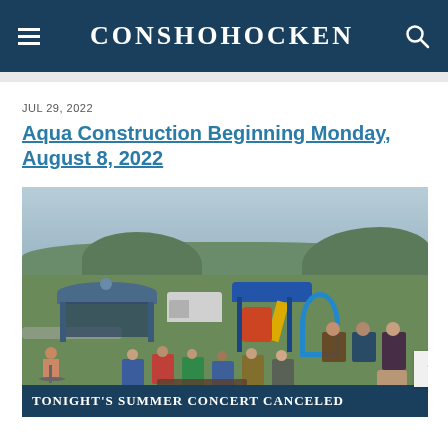CONSHOHOCKEN
JUL 29, 2022
Aqua Construction Beginning Monday, August 8, 2022
[Figure (photo): Outdoor park scene with a pavilion/bandshell on the left, a colorful playground structure in the center-background, and people sitting on lawn chairs and benches in the foreground watching a summer concert or event. Trees visible in background.]
TONIGHT'S SUMMER CONCERT CANCELED